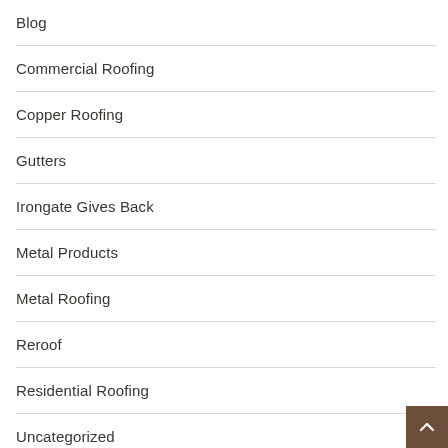Blog
Commercial Roofing
Copper Roofing
Gutters
Irongate Gives Back
Metal Products
Metal Roofing
Reroof
Residential Roofing
Uncategorized